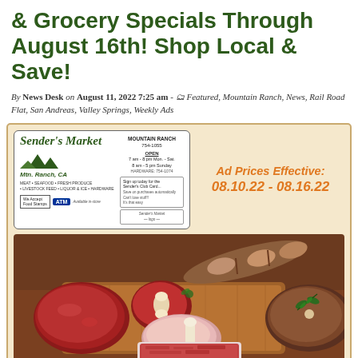& Grocery Specials Through August 16th! Shop Local & Save!
By News Desk on August 11, 2022 7:25 am - Featured, Mountain Ranch, News, Rail Road Flat, San Andreas, Valley Springs, Weekly Ads
[Figure (infographic): Sender's Market advertisement. Store card with logo showing mountains, 'Senders Market Mtn. Ranch, CA', MOUNTAIN RANCH 754-1055, OPEN hours, hardware info, We Accept Food Stamps, ATM. Right side: 'Ad Prices Effective: 08.10.22 - 08.16.22' in orange italic text. Below: photo of assorted raw meats including steak, pork chop, sausage links, seasoned roast, and ground beef on cutting board.]